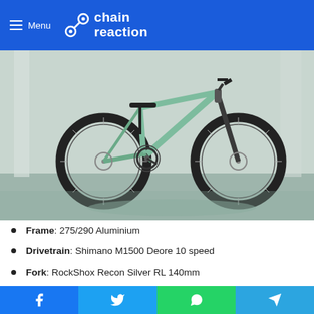Menu | chain reaction
[Figure (photo): A mint/sage green mountain bike (Nukeproof) with black components, large knobby tires, photographed in an industrial/studio setting with concrete floor and white walls.]
Frame: 275/290 Aluminium
Drivetrain: Shimano M1500 Deore 10 speed
Fork: RockShox Recon Silver RL 140mm
Shop Nukeproof Bikes